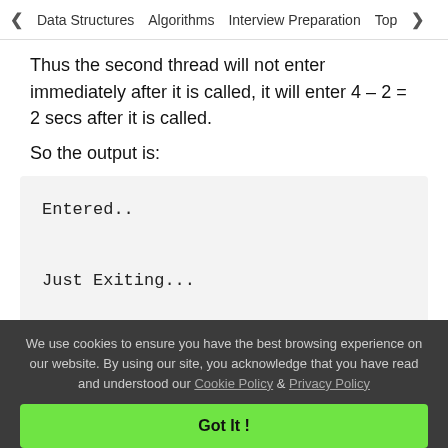< Data Structures   Algorithms   Interview Preparation   Top>
Thus the second thread will not enter immediately after it is called, it will enter 4 – 2 = 2 secs after it is called.
So the output is:
[Figure (screenshot): Code output block showing: Entered.. / Just Exiting... / Entered..]
We use cookies to ensure you have the best browsing experience on our website. By using our site, you acknowledge that you have read and understood our Cookie Policy & Privacy Policy
Got It !